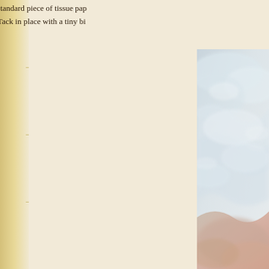I fold a standard piece of tissue pap… need it. Tack in place with a tiny bi…
[Figure (photo): A partially visible photograph on the right side of the page showing soft, billowy white/light grey material (possibly tissue paper or fabric) with a warm pinkish/skin-toned area at the bottom right corner.]